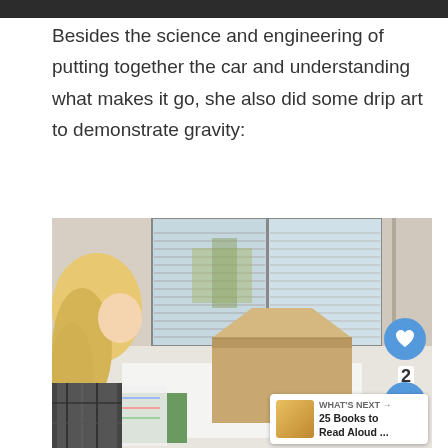Besides the science and engineering of putting together the car and understanding what makes it go, she also did some drip art to demonstrate gravity:
[Figure (photo): A young blonde girl sitting at a table near a window with blinds, looking at open cardboard boxes on a white surface. A 'What's Next' overlay shows '25 Books to Read Aloud ...' with a heart button showing count 2 and a share button.]